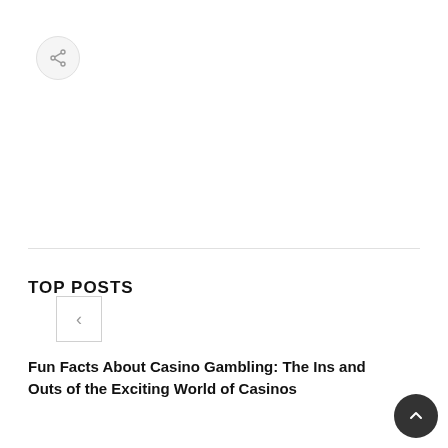[Figure (screenshot): Share button — circular grey button with share/network icon]
[Figure (screenshot): Left navigation arrow button (previous)]
[Figure (screenshot): Right navigation arrow button (next)]
TOP POSTS
[Figure (infographic): Yellow badge with eye icon and number 1]
Fun Facts About Casino Gambling: The Ins and Outs of the Exciting World of Casinos
[Figure (infographic): Yellow badge with eye icon and number 8]